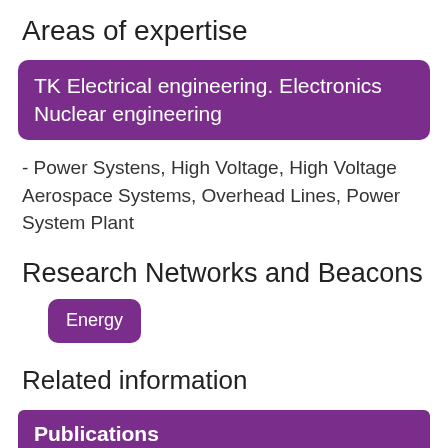Areas of expertise
TK Electrical engineering. Electronics Nuclear engineering
- Power Systens, High Voltage, High Voltage Aerospace Systems, Overhead Lines, Power System Plant
Research Networks and Beacons
Energy
Related information
Publications